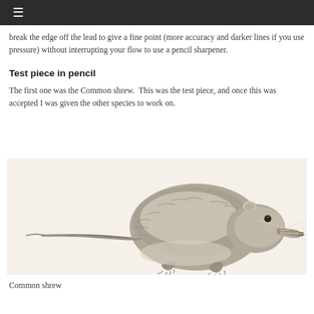≡
break the edge off the lead to give a fine point (more accuracy and darker lines if you use pressure) without interrupting your flow to use a pencil sharpener.
Test piece in pencil
The first one was the Common shrew.  This was the test piece, and once this was accepted I was given the other species to work on.
[Figure (illustration): Pencil drawing of a Common shrew, shown in profile facing right, with detailed fur texture, small eye, elongated snout with whiskers, and small feet. Drawn on a light cream/beige background.]
Common shrew